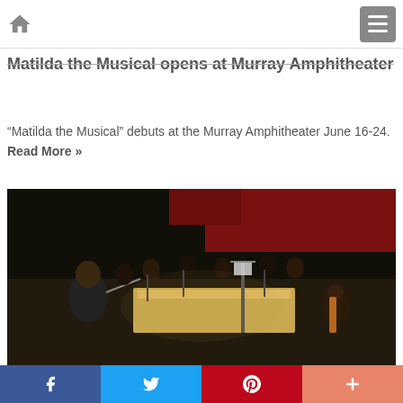Home | Menu
Matilda the Musical opens at Murray Amphitheater
“Matilda the Musical” debuts at the Murray Amphitheater June 16-24. Read More »
[Figure (photo): Orchestra rehearsal on a dark stage with red curtain backdrop. Conductor in foreground at piano/harpsichord, musicians with string instruments in background.]
Facebook | Twitter | Pinterest | More